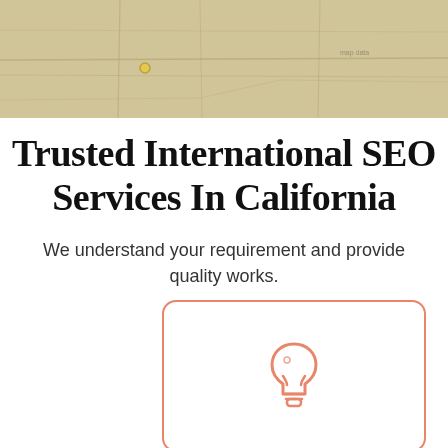[Figure (map): Map banner background showing a geographic/street map with muted yellowish-tan tones, road lines visible]
Trusted International SEO Services In California
We understand your requirement and provide quality works.
[Figure (illustration): A rounded rectangle card with salmon/coral border containing a lightbulb icon in salmon/coral color, positioned in lower right area of the page]